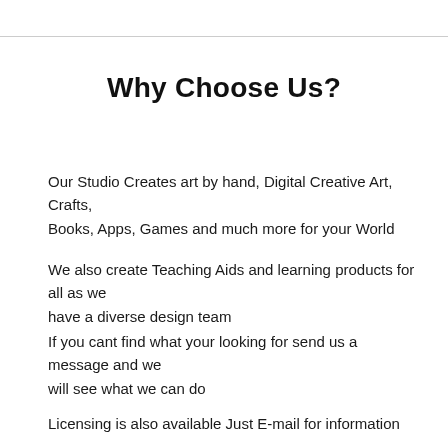Why Choose Us?
Our Studio Creates art by hand, Digital Creative Art, Crafts, Books, Apps, Games and much more for your World
We also create Teaching Aids and learning products for all as we have a diverse design team
If you cant find what your looking for send us a message and we will see what we can do
Licensing is also available Just E-mail for information